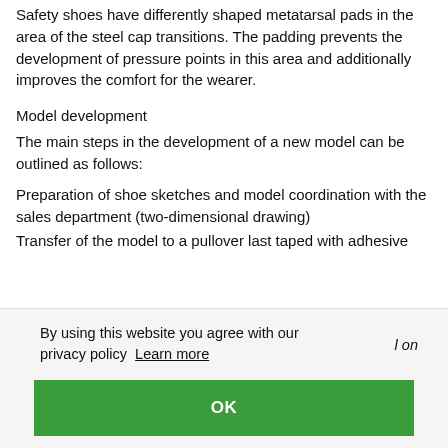Safety shoes have differently shaped metatarsal pads in the area of the steel cap transitions. The padding prevents the development of pressure points in this area and additionally improves the comfort for the wearer.
Model development
The main steps in the development of a new model can be outlined as follows:
Preparation of shoe sketches and model coordination with the sales department (two-dimensional drawing)
Transfer of the model to a pullover last taped with adhesive
By using this website you agree with our privacy policy  Learn more
l on
OK